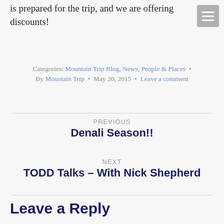is prepared for the trip, and we are offering discounts!
Categories: Mountain Trip Blog, News, People & Places · By Mountain Trip · May 20, 2015 · Leave a comment
PREVIOUS
Denali Season!!
NEXT
TODD Talks – With Nick Shepherd
Leave a Reply